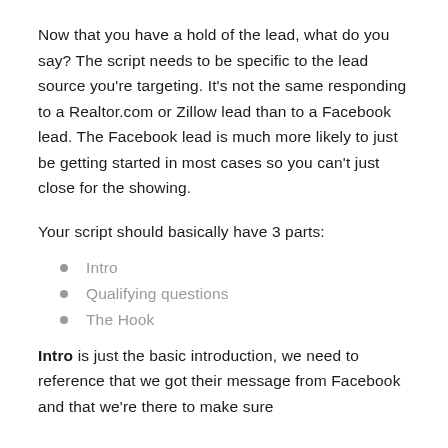Now that you have a hold of the lead, what do you say? The script needs to be specific to the lead source you're targeting. It's not the same responding to a Realtor.com or Zillow lead than to a Facebook lead. The Facebook lead is much more likely to just be getting started in most cases so you can't just close for the showing.
Your script should basically have 3 parts:
Intro
Qualifying questions
The Hook
Intro is just the basic introduction, we need to reference that we got their message from Facebook and that we're there to make sure